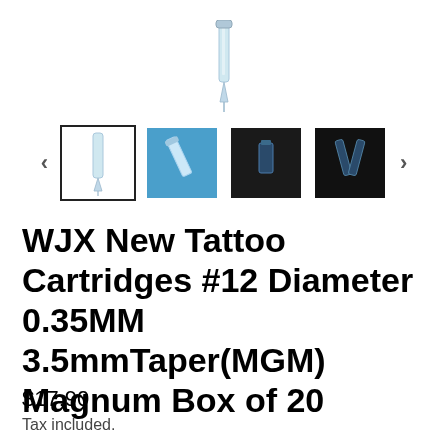[Figure (photo): Tattoo needle cartridge product image shown at top]
[Figure (photo): Thumbnail image carousel with 4 product images and left/right navigation arrows]
WJX New Tattoo Cartridges #12 Diameter 0.35MM 3.5mmTaper(MGM) Magnum Box of 20
$17.90
Tax included.